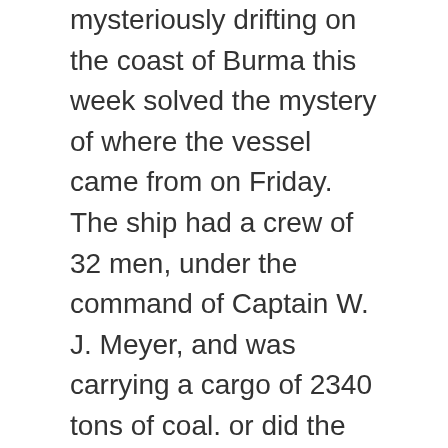mysteriously drifting on the coast of Burma this week solved the mystery of where the vessel came from on Friday. The ship had a crew of 32 men, under the command of Captain W. J. Meyer, and was carrying a cargo of 2340 tons of coal. or did the illuminati take it. Facebook Twitter Pinterest Google. However, this is the case with the 'S.S Baychimo' – a 1,300-ton cargo and passenger ship operated by the Hudson's Bay Trading Company. The Sun website is regulated by the Independent Press Standards Organisation (IPSO), Our journalists strive for accuracy but on occasion we make mistakes. The Vice President of Council of Ministers, General Abelardo Colomé,